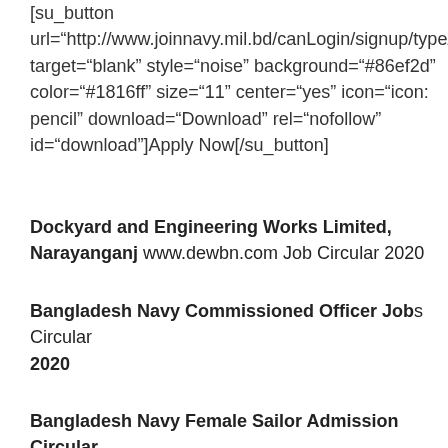[su_button url="http://www.joinnavy.mil.bd/canLogin/signup/type/1" target="blank" style="noise" background="#86ef2d" color="#1816ff" size="11" center="yes" icon="icon:pencil" download="Download" rel="nofollow" id="download"]Apply Now[/su_button]
Dockyard and Engineering Works Limited, Narayanganj www.dewbn.com Job Circular 2020
Bangladesh Navy Commissioned Officer Jobs Circular 2020
Bangladesh Navy Female Sailor Admission Circular